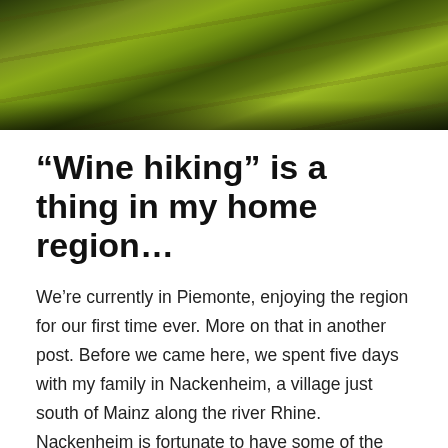[Figure (photo): Aerial or hillside view of lush yellow-green vegetation and foliage, possibly vineyards or wild flowering plants on a slope, with a dark strip suggesting a path or road.]
“Wine hiking” is a thing in my home region…
We’re currently in Piemonte, enjoying the region for our first time ever. More on that in another post. Before we came here, we spent five days with my family in Nackenheim, a village just south of Mainz along the river Rhine. Nackenheim is fortunate to have some of the best soil along the Rhine between itself and Nierstein to its south: the Rothenberg. As the name indicates, its soil is of intense red color, an iron-rich sandstone and clay mix including red slate.The vines face east, down towards the Rhine to get maximum exposure on this steep hill. I grew